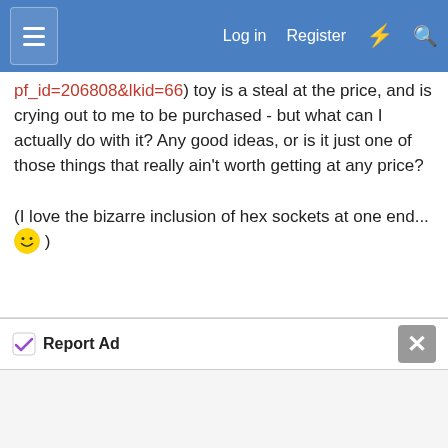Log in  Register
pf_id=206808&lkid=66) toy is a steal at the price, and is crying out to me to be purchased - but what can I actually do with it? Any good ideas, or is it just one of those things that really ain't worth getting at any price?

(I love the bizarre inclusion of hex sockets at one end... 😀 )
Reply
Advertisement
Report Ad